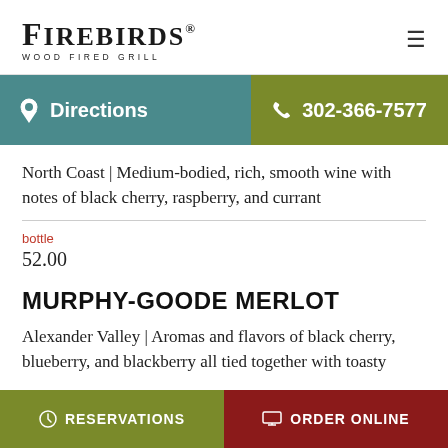FIREBIRDS WOOD FIRED GRILL
Directions   302-366-7577
North Coast | Medium-bodied, rich, smooth wine with notes of black cherry, raspberry, and currant
bottle
52.00
MURPHY-GOODE MERLOT
Alexander Valley | Aromas and flavors of black cherry, blueberry, and blackberry all tied together with toasty
RESERVATIONS   ORDER ONLINE